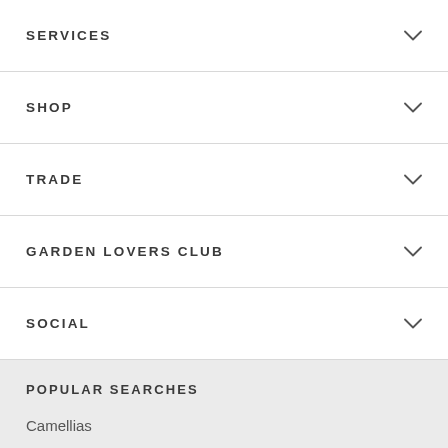SERVICES
SHOP
TRADE
GARDEN LOVERS CLUB
SOCIAL
POPULAR SEARCHES
Camellias
Grevilleas
Pot, Pots, Potting, Potted
Kangaroo Paw
Mulch
Olive Tree